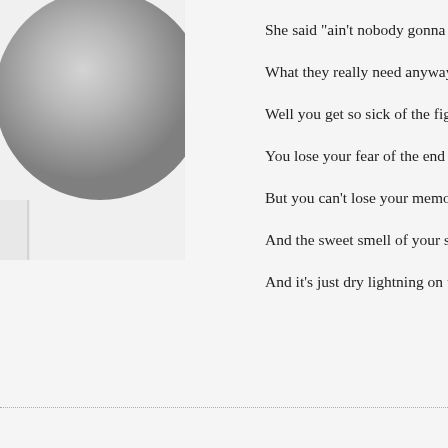[Figure (photo): Grayscale photograph of a spherical object (possibly a globe or ball) in the upper-left corner of the page, partially cropped]
She said "ain't nobody gonna giv
What they really need anyway"
Well you get so sick of the fighti
You lose your fear of the end
But you can't lose your memory
And the sweet smell of your ski
And it's just dry lightning on the